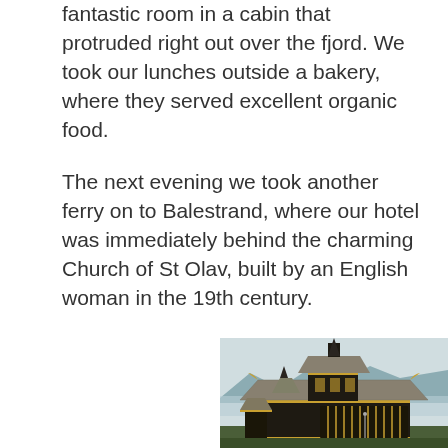fantastic room in a cabin that protruded right out over the fjord. We took our lunches outside a bakery, where they served excellent organic food.
The next evening we took another ferry on to Balestrand, where our hotel was immediately behind the charming Church of St Olav, built by an English woman in the 19th century.
[Figure (photo): Photograph of the Church of St Olav in Balestrand, a dark wooden stave-style church with golden/yellow trim, multiple tiered roofs, a tall spire, and decorative dragon-head finials. Mountains and fjord visible in the background.]